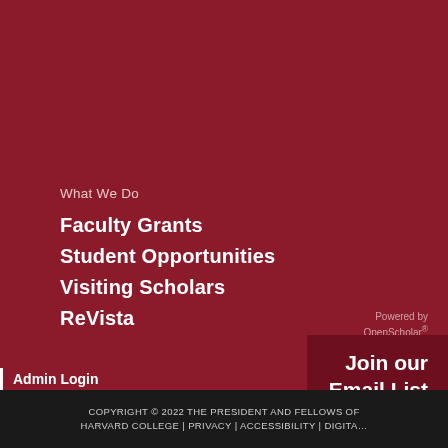What We Do
Faculty Grants
Student Opportunities
Visiting Scholars
ReVista
Admin Login
Powered by OpenScholar®
Join our Email List
COPYRIGHT © 2022 THE PRESIDENT AND FELLOWS OF HARVARD COLLEGE | PRIVACY | ACCESSIBILITY | DIGITA…